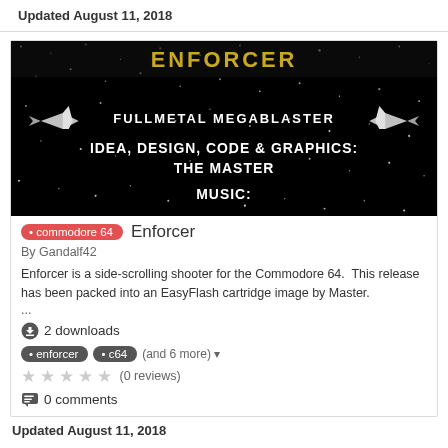Updated August 11, 2018
[Figure (screenshot): Screenshot of Enforcer game for Commodore 64, showing 'FULLMETAL MEGABLASTER' and 'IDEA, DESIGN, CODE & GRAPHICS: THE MASTER MUSIC:' text on a black starfield background]
commodore 64   Enforcer
By Gandalf42
Enforcer is a side-scrolling shooter for the Commodore 64.  This release has been packed into an EasyFlash cartridge image by Master.
...
2 downloads
enforcer  c64  (and 6 more)
(0 reviews)
0 comments
Updated August 11, 2018